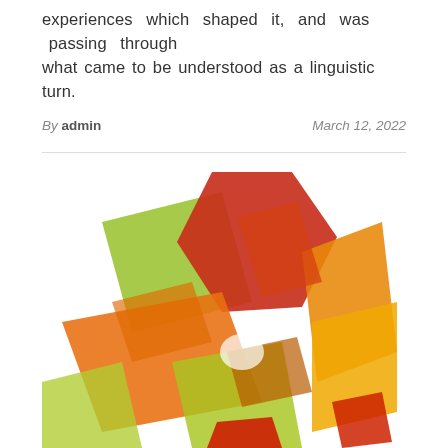experiences which shaped it, and was passing through what came to be understood as a linguistic turn.
By admin   March 12, 2022
[Figure (photo): Abstract colorful overlapping translucent rectangular and hexagonal shapes in shades of red, orange, yellow, and green on a white background.]